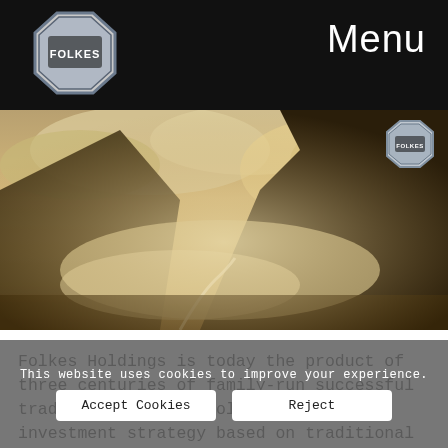Menu
[Figure (illustration): Logo of Folkes Holdings — octagonal badge shape with 'FOLKES' text, dark grey outline]
[Figure (photo): Aerial landscape photo showing mountains, mist/fog, and a winding river or road in warm sepia/golden tones with clouds]
[Figure (logo): Small Folkes logo badge overlaid on top-right of hero image]
Folkes Holdings is today the product of three centuries of family-run successful trading. The group follows a global investment strategy based on traditional values
This website uses cookies to improve your experience.
Accept Cookies
Reject